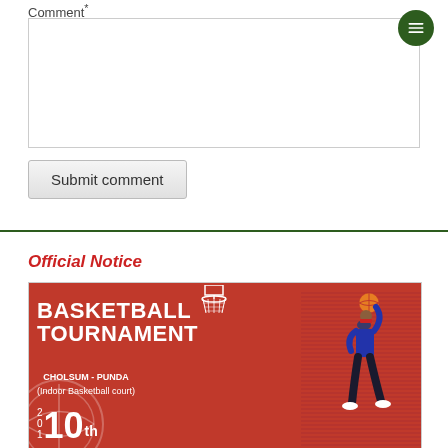Comment*
[Figure (screenshot): Comment textarea input box with a green circular menu button in the top right corner]
Submit comment
Official Notice
[Figure (illustration): Basketball Tournament promotional banner with red background showing a basketball player dunking, text reads: BASKETBALL TOURNAMENT, CHOLSUM - PUNDA (Indoor Basketball court), 10th]